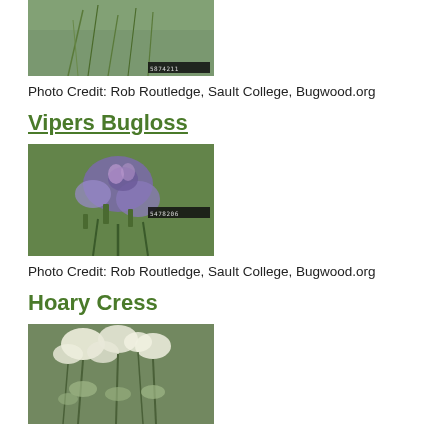[Figure (photo): Close-up photo of a plant with green stems and leaves, with a small ID label in the bottom right corner]
Photo Credit: Rob Routledge, Sault College, Bugwood.org
Vipers Bugloss
[Figure (photo): Close-up photo of a Vipers Bugloss plant with purple/blue flowers and green foliage, with a small ID label in the bottom right corner]
Photo Credit: Rob Routledge, Sault College, Bugwood.org
Hoary Cress
[Figure (photo): Photo of Hoary Cress plant with clusters of white flowers and silvery-green foliage]